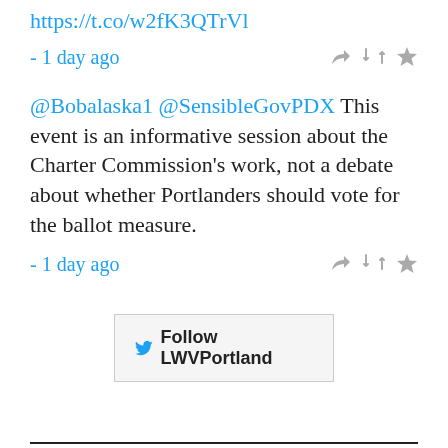https://t.co/w2fK3QTrVl
- 1 day ago
@Bobalaska1 @SensibleGovPDX This event is an informative session about the Charter Commission's work, not a debate about whether Portlanders should vote for the ballot measure.
- 1 day ago
[Figure (other): Follow LWVPortland button with Twitter bird icon]
JOIN US!